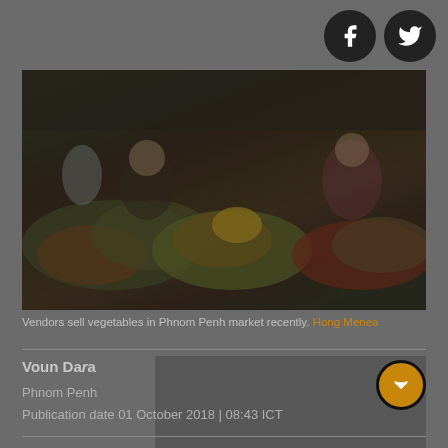[Figure (photo): Market vendors selling vegetables in Phnom Penh market, dark toned photograph showing produce stalls with colorful vegetables and two vendors]
Vendors sell vegetables in Phnom Penh market recently. Hong Menea
Voun Dara
Phnom Penh
Publication date 01 October 2018 | 08:43 ICT